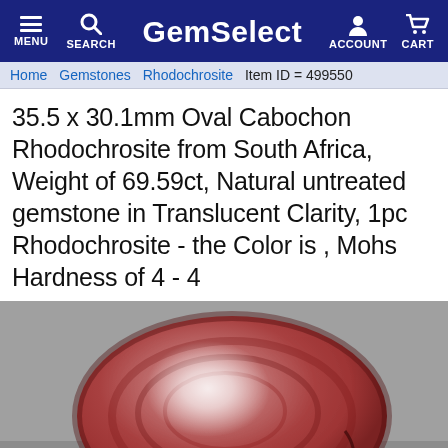GemSelect — MENU, SEARCH, ACCOUNT, CART
Home  Gemstones  Rhodochrosite  Item ID = 499550
35.5 x 30.1mm Oval Cabochon Rhodochrosite from South Africa, Weight of 69.59ct, Natural untreated gemstone in Translucent Clarity, 1pc Rhodochrosite - the Color is , Mohs Hardness of 4 - 4
[Figure (photo): Close-up photo of a large oval cabochon rhodochrosite gemstone from South Africa. The stone is pinkish-red with a white reflective highlight on its domed surface, photographed on a grey background.]
Like  Share  Save  Tweet